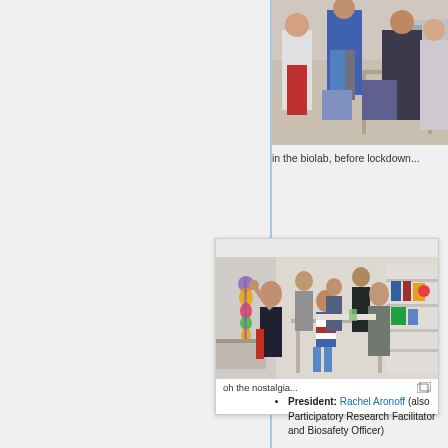[Figure (photo): Partial photo of people in a biolab setting, cropped at top of page]
in the biolab, before lockdown...
[Figure (photo): Group photo of people in a biolab with DNA model decoration on the wall, lab equipment and shelving visible]
oh the nostalgia...
President: Rachel Aronoff (also Participatory Research Facilitator and Biosafety Officer)